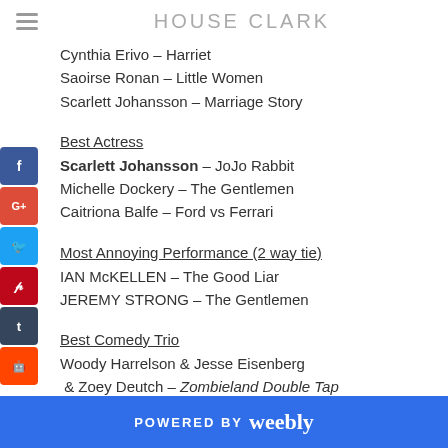HOUSE CLARK
Cynthia Erivo – Harriet
Saoirse Ronan – Little Women
Scarlett Johansson – Marriage Story
Best Actress
Scarlett Johansson – JoJo Rabbit
Michelle Dockery – The Gentlemen
Caitriona Balfe – Ford vs Ferrari
Most Annoying Performance (2 way tie)
IAN McKELLEN – The Good Liar
JEREMY STRONG – The Gentlemen
Best Comedy Trio
Woody Harrelson & Jesse Eisenberg & Zoey Deutch – Zombieland Double Tap
POWERED BY weebly